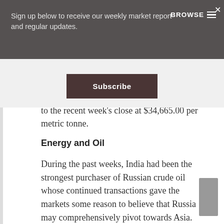Sign up below to receive our weekly market report and regular updates.
Subscribe
to the recent week's close at $34,665.00 per metric tonne.
Energy and Oil
During the past weeks, India had been the strongest purchaser of Russian crude oil whose continued transactions gave the markets some reason to believe that Russia may comprehensively pivot towards Asia. This past week, however, China emerged as the